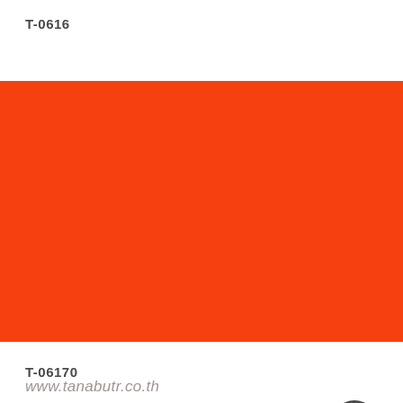T-0616
[Figure (illustration): Solid orange-red color swatch filling the middle section of the page, color approximately #f54010]
www.tanabutr.co.th
T-06170